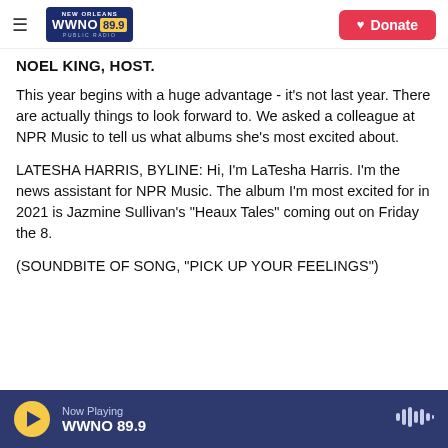NEW ORLEANS WWNO 89.9 PUBLIC RADIO | Donate
NOEL KING, HOST.
This year begins with a huge advantage - it's not last year. There are actually things to look forward to. We asked a colleague at NPR Music to tell us what albums she's most excited about.
LATESHA HARRIS, BYLINE: Hi, I'm LaTesha Harris. I'm the news assistant for NPR Music. The album I'm most excited for in 2021 is Jazmine Sullivan's "Heaux Tales" coming out on Friday the 8.
(SOUNDBITE OF SONG, "PICK UP YOUR FEELINGS")
Now Playing WWNO 89.9